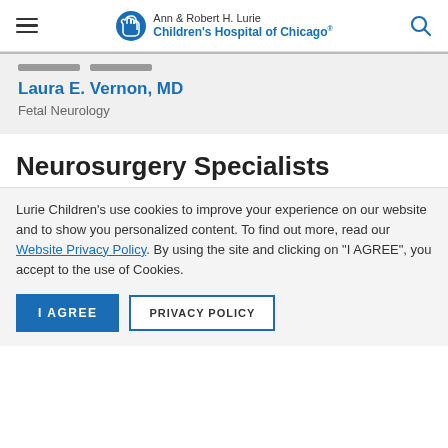Ann & Robert H. Lurie Children's Hospital of Chicago
Laura E. Vernon, MD
Fetal Neurology
Neurosurgery Specialists
Lurie Children's use cookies to improve your experience on our website and to show you personalized content. To find out more, read our Website Privacy Policy. By using the site and clicking on "I AGREE", you accept to the use of Cookies.
I AGREE   PRIVACY POLICY